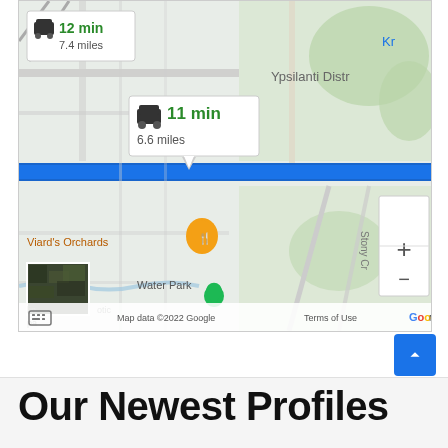[Figure (map): Google Maps screenshot showing two driving route options. Route 1: 12 min, 7.4 miles (blue unselected). Route 2: 11 min, 6.6 miles (selected, blue highway). Shows Ypsilanti District, Viard's Orchards, Water Park, and Stony Cr labels. Zoom +/- controls visible. Map data ©2022 Google. Terms of Use.]
Our Newest Profiles